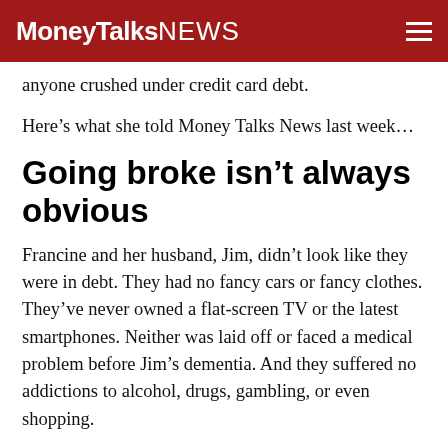MoneyTalksNews
anyone crushed under credit card debt.
Here’s what she told Money Talks News last week…
Going broke isn’t always obvious
Francine and her husband, Jim, didn’t look like they were in debt. They had no fancy cars or fancy clothes. They’ve never owned a flat-screen TV or the latest smartphones. Neither was laid off or faced a medical problem before Jim’s dementia. And they suffered no addictions to alcohol, drugs, gambling, or even shopping.
“I really can’t point at one thing,” Francine recalls.